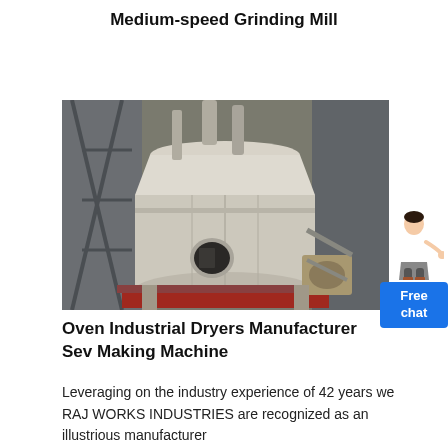Medium-speed Grinding Mill
[Figure (photo): Large industrial medium-speed grinding mill machine in a factory setting, showing a large cylindrical white/cream colored grinding mill with industrial components, pipes, and structural supports in the background.]
Oven Industrial Dryers Manufacturer Sev Making Machine
Leveraging on the industry experience of 42 years we RAJ WORKS INDUSTRIES are recognized as an illustrious manufacturer